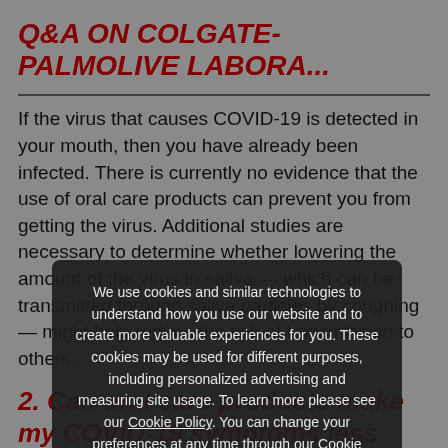Q&A ON COLGATE-PALMOLIVE LABORA...
If the virus that causes COVID-19 is detected in your mouth, then you have already been infected. There is currently no evidence that the use of oral care products can prevent you from getting the virus. Additional studies are necessary to determine whether lowering the amount of the virus in saliva — which can be transmitted through saliva particles by coughing — might help reduce the risk of transmission to others.
2. Can oral care products make my COVID-19 symptoms less severe or help me recover more quickly?
No, there is no evidence that use of oral care products
We use cookies and similar technologies to understand how you use our website and to create more valuable experiences for you. These cookies may be used for different purposes, including personalized advertising and measuring site usage. To learn more please see our Cookie Policy. You can change your preferences at any time through our Cookie preferences tool.